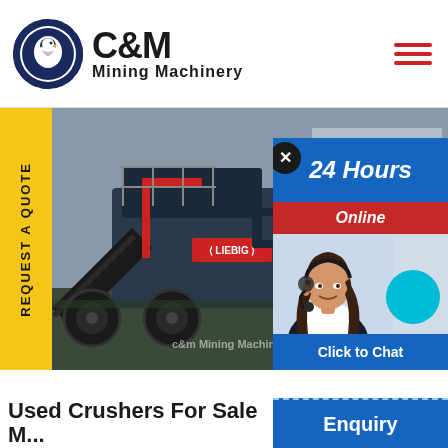[Figure (logo): C&M Mining Machinery logo with eagle emblem in circle and company name]
[Figure (photo): Mining machinery / crusher equipment on site, with a customer service representative chat popup overlay showing '24 Hours Online' and 'Click to Chat' buttons]
Used Crushers For Sale N...